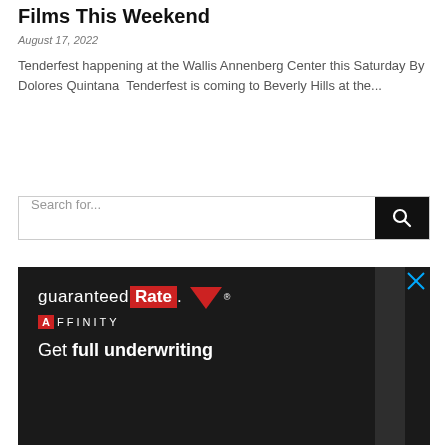Films This Weekend
August 17, 2022
Tenderfest happening at the Wallis Annenberg Center this Saturday By Dolores Quintana  Tenderfest is coming to Beverly Hills at the...
[Figure (screenshot): Search bar with text input 'Search for...' and black search button with magnifying glass icon]
[Figure (photo): Advertisement for Guaranteed Rate Affinity showing dark background with logo, red arrow, and text 'Get full underwriting']